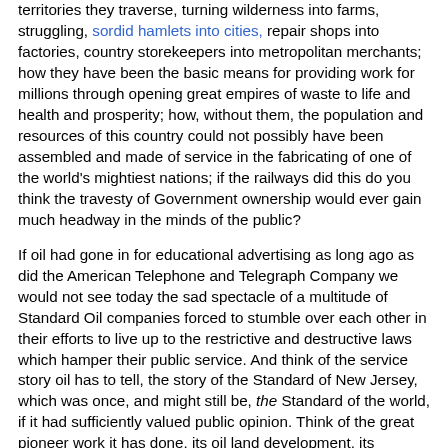territories they traverse, turning wilderness into farms, struggling, sordid hamlets into cities, repair shops into factories, country storekeepers into metropolitan merchants; how they have been the basic means for providing work for millions through opening great empires of waste to life and health and prosperity; how, without them, the population and resources of this country could not possibly have been assembled and made of service in the fabricating of one of the world's mightiest nations; if the railways did this do you think the travesty of Government ownership would ever gain much headway in the minds of the public?
If oil had gone in for educational advertising as long ago as did the American Telephone and Telegraph Company we would not see today the sad spectacle of a multitude of Standard Oil companies forced to stumble over each other in their efforts to live up to the restrictive and destructive laws which hamper their public service. And think of the service story oil has to tell, the story of the Standard of New Jersey, which was once, and might still be, the Standard of the world, if it had sufficiently valued public opinion. Think of the great pioneer work it has done, its oil land development, its scientific achievements in refining, its great industrial-educational work, its highly developed systems for transportation and distribution, its enlargement of the service of oil to humanity, such as taking stokers out of the intolerable heat of steamship stokeholes. Educational advertising would have forced a